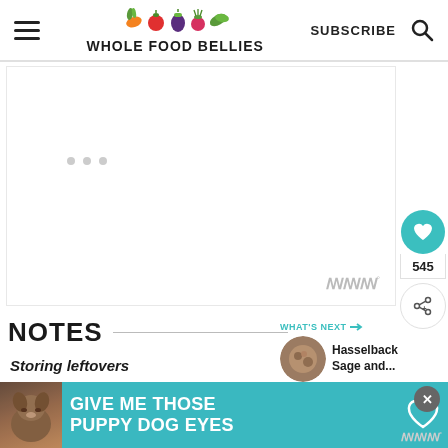WHOLE FOOD BELLIES | SUBSCRIBE
[Figure (screenshot): Blank/loading ad placeholder box with three grey loading dots in the upper portion and a Mediavine (WM°) watermark in the lower right]
[Figure (other): Floating heart/like button (teal circle) with count 545 below it, and a share button (circle with share icon)]
NOTES
Storing leftovers
[Figure (other): What's Next panel with circular thumbnail image and text 'Hasselback Sage and...']
[Figure (other): Bottom banner advertisement: dark background with teal section reading 'GIVE ME THOSE PUPPY DOG EYES' with a dog illustration and heart outline icon]